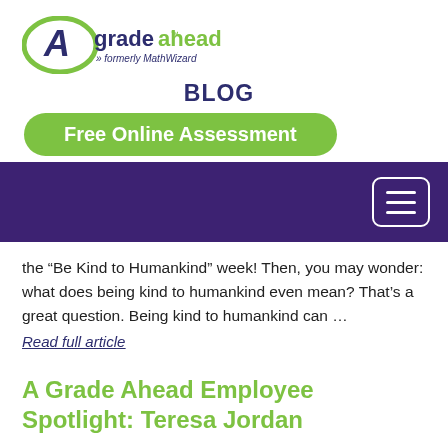[Figure (logo): A Grade Ahead logo — green oval with letter A, text 'gradeahead' in dark navy, 'formerly MathWizard' in smaller navy italic text below]
BLOG
Free Online Assessment
[Figure (other): Dark purple navigation bar with hamburger menu icon (three horizontal lines in a rounded rectangle) on the right side]
the “Be Kind to Humankind” week! Then, you may wonder: what does being kind to humankind even mean? That’s a great question. Being kind to humankind can …
Read full article
A Grade Ahead Employee Spotlight: Teresa Jordan